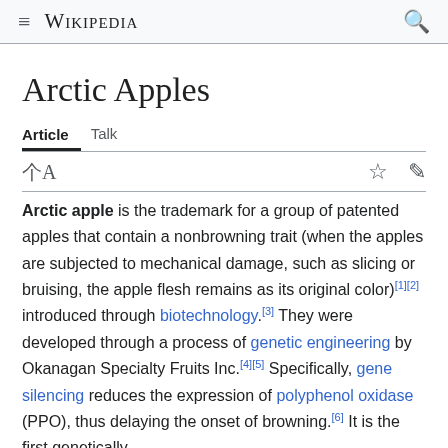Wikipedia
Arctic Apples
Article  Talk
Arctic apple is the trademark for a group of patented apples that contain a nonbrowning trait (when the apples are subjected to mechanical damage, such as slicing or bruising, the apple flesh remains as its original color)[1][2] introduced through biotechnology.[3] They were developed through a process of genetic engineering by Okanagan Specialty Fruits Inc.[4][5] Specifically, gene silencing reduces the expression of polyphenol oxidase (PPO), thus delaying the onset of browning.[6] It is the first genetically